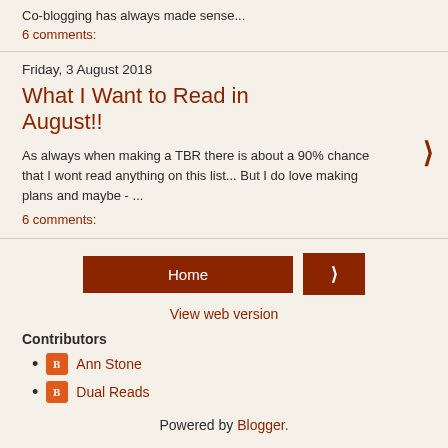Co-blogging has always made sense...
6 comments:
Friday, 3 August 2018
What I Want to Read in August!!
As always when making a TBR there is about a 90% chance that I wont read anything on this list... But I do love making plans and maybe - ...
6 comments:
Home
View web version
Contributors
Ann Stone
Dual Reads
Powered by Blogger.